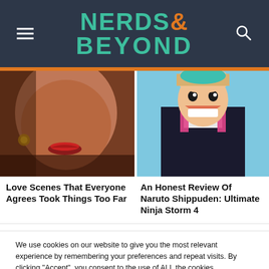NERDS& BEYOND
[Figure (photo): Close-up of a woman's face with red lips and golden earrings]
[Figure (illustration): Anime character smiling in a dark coat with pink/teal accents]
Love Scenes That Everyone Agrees Took Things Too Far
An Honest Review Of Naruto Shippuden: Ultimate Ninja Storm 4
We use cookies on our website to give you the most relevant experience by remembering your preferences and repeat visits. By clicking “Accept”, you consent to the use of ALL the cookies.
Do not sell my personal information.
Cookie settings   ACCEPT